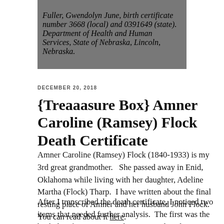Fuller, Gwendolyn June, birth certificate number 3668 (local) and 0391649 (state). Department of Health and Human Services, State of Nebraska, Lincoln, Nebraska.
DECEMBER 20, 2018
{Treaaasure Box} Amner Caroline (Ramsey) Flock Death Certificate
Amner Caroline (Ramsey) Flock (1840-1933) is my 3rd great grandmother.   She passed away in Enid, Oklahoma while living with her daughter, Adeline Martha (Flock) Tharp.  I have written about the final resting place of Amner and her husband John Flock.  You can read about it here.
After I transcribed the death certificate, I noticed two items that needed further analysis.  The first was the birth date for Amner Caroline.  It was listed 1841 on the